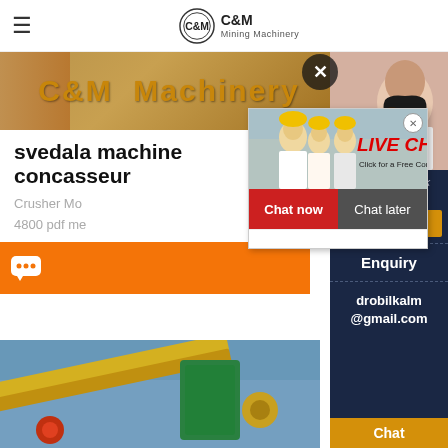C&M Mining Machinery
[Figure (photo): C&M Machinery banner with construction site background and gold text]
svedala machine concasseur
Crusher Mo... 4800 pdf me...
[Figure (screenshot): Live Chat popup overlay with workers photo, LIVE CHAT label in red, Chat now and Chat later buttons]
[Figure (photo): Mining machinery conveyor equipment photo]
[Figure (photo): Customer service representative with headset in right sidebar]
ave any requests, ick here.
Quotation
Enquiry
drobilkalm @gmail.com
Chat